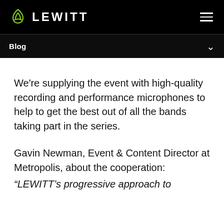LEWITT
Blog
We're supplying the event with high-quality recording and performance microphones to help to get the best out of all the bands taking part in the series.
Gavin Newman, Event & Content Director at Metropolis, about the cooperation:
“LEWITT’s progressive approach to